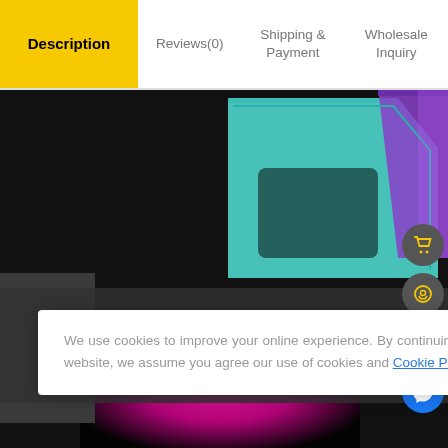Description | Reviews(0) | Shipping & Payment | Wholesale Inquiry
[Figure (photo): E-commerce product page screenshot showing phone cases in teal and purple on black background, with a pink/magenta glowing phone image below. A dark overlay band shows an error message: 'Sorry, the page you are looking for could not be found.']
Sorry, the page you are looking for could not be found.
We use cookies to improve your online experience. By continuing browsing this website, we assume you agree our use of cookies and Cookie Policy.